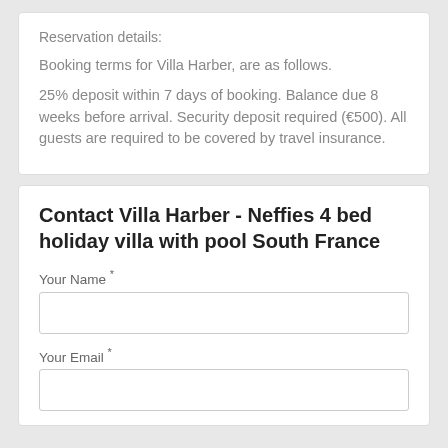Reservation details:
Booking terms for Villa Harber, are as follows.
25% deposit within 7 days of booking. Balance due 8 weeks before arrival. Security deposit required (€500). All guests are required to be covered by travel insurance.
Contact Villa Harber - Neffies 4 bed holiday villa with pool South France
Your Name *
Your Email *